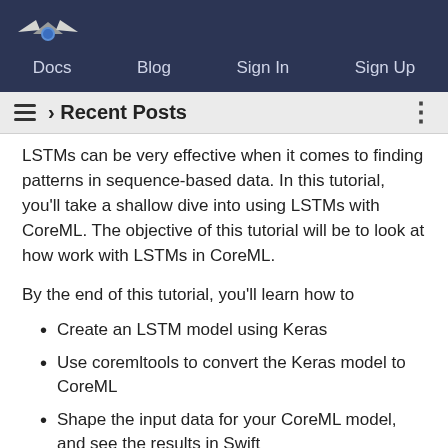Docs  Blog  Sign In  Sign Up
☰ › Recent Posts
LSTMs can be very effective when it comes to finding patterns in sequence-based data. In this tutorial, you'll take a shallow dive into using LSTMs with CoreML. The objective of this tutorial will be to look at how work with LSTMs in CoreML.
By the end of this tutorial, you'll learn how to
Create an LSTM model using Keras
Use coremltools to convert the Keras model to CoreML
Shape the input data for your CoreML model, and see the results in Swift